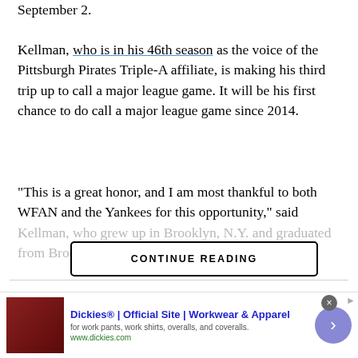September 2.
Kellman, who is in his 46th season as the voice of the Pittsburgh Pirates Triple-A affiliate, is making his third trip up to call a major league game. It will be his first chance to do call a major league game since 2014.
“This is a great honor, and I am most thankful to both WFAN and the Yankees for this opportunity,” said Kellman, who grew up in Brooklyn, N.Y. and graduated from Brooklyn College.“George Steinbrenner let me
CONTINUE READING
[Figure (other): Advertisement banner for Dickies workwear with logo image, title, subtitle, and forward arrow button]